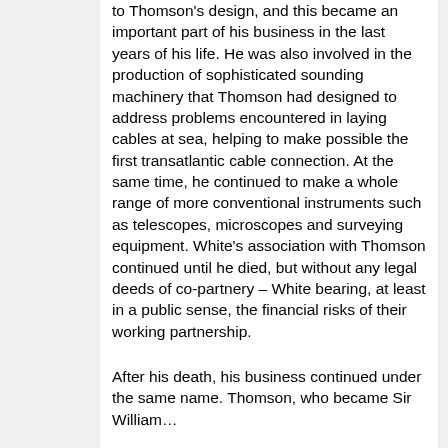to Thomson's design, and this became an important part of his business in the last years of his life. He was also involved in the production of sophisticated sounding machinery that Thomson had designed to address problems encountered in laying cables at sea, helping to make possible the first transatlantic cable connection. At the same time, he continued to make a whole range of more conventional instruments such as telescopes, microscopes and surveying equipment. White's association with Thomson continued until he died, but without any legal deeds of co-partnery – White bearing, at least in a public sense, the financial risks of their working partnership.
After his death, his business continued under the same name. Thomson, who became Sir William…